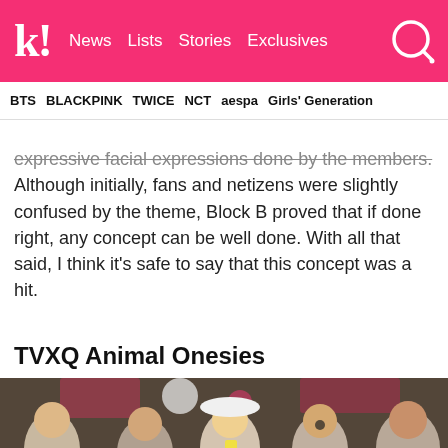k! News | Lists | Stories | Exclusives
BTS | BLACKPINK | TWICE | NCT | aespa | Girls' Generation
expressive facial expressions done by the members. Although initially, fans and netizens were slightly confused by the theme, Block B proved that if done right, any concept can be well done. With all that said, I think it's safe to say that this concept was a hit.
TVXQ Animal Onesies
[Figure (photo): Group of people in a colorful venue, some wearing animal onesies or costumes, appearing to be TVXQ members in a music video or promotional setting.]